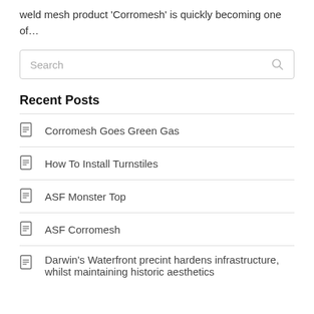weld mesh product 'Corromesh' is quickly becoming one of...
Recent Posts
Corromesh Goes Green Gas
How To Install Turnstiles
ASF Monster Top
ASF Corromesh
Darwin's Waterfront precint hardens infrastructure, whilst maintaining historic aesthetics